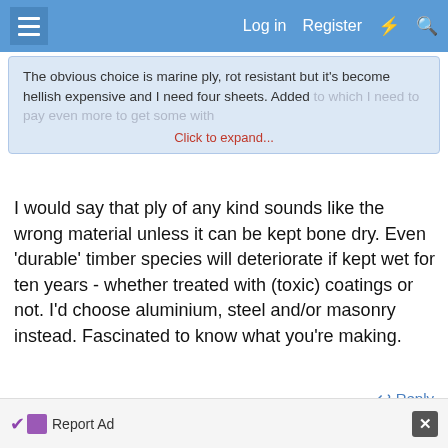Log in  Register
The obvious choice is marine ply, rot resistant but it's become hellish expensive and I need four sheets. Added to which I need to pay even more to get some with
Click to expand...
I would say that ply of any kind sounds like the wrong material unless it can be kept bone dry. Even 'durable' timber species will deteriorate if kept wet for ten years - whether treated with (toxic) coatings or not. I'd choose aluminium, steel and/or masonry instead. Fascinated to know what you're making.
↩ Reply
5 Dec 2021  #12
Woody2Shoes
Report Ad